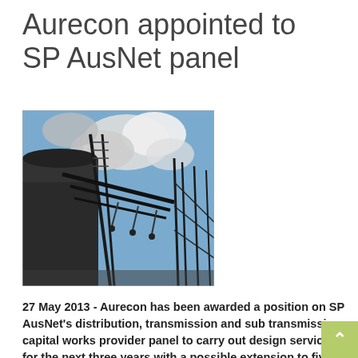Aurecon appointed to SP AusNet panel
[Figure (photo): Looking up at high-voltage electrical transmission towers and infrastructure against a blue sky with clouds. A large cylindrical industrial structure is visible on the left.]
27 May 2013 - Aurecon has been awarded a position on SP AusNet's distribution, transmission and sub transmission capital works provider panel to carry out design services for the next three years with a possible extension to five years.